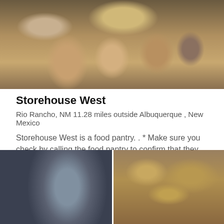[Figure (photo): Group photo of volunteers/people at a food pantry, smiling and posing with boxes]
Storehouse West
Rio Rancho, NM 11.28 miles outside Albuquerque , New Mexico
Storehouse West is a food pantry. . * Make sure you check by calling the food pantry to confirm that they still are in operation and the hours have not changed. [...]
[Figure (photo): Two-panel photo: left shows a man looking at food pantry shelves, right shows boxes of food on shelves]